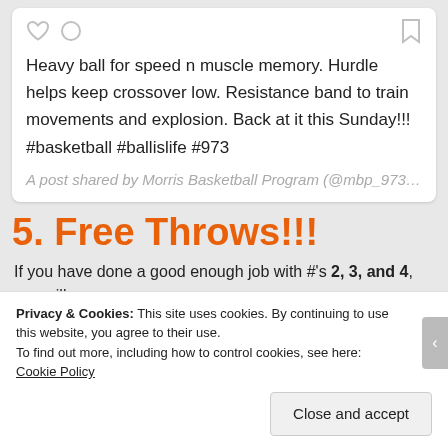Heavy ball for speed n muscle memory. Hurdle helps keep crossover low. Resistance band to train movements and explosion. Back at it this Sunday!!! #basketball #ballislife #973
A post shared by Morris Basketball Program (@mbp_973…
5. Free Throws!!!
If you have done a good enough job with #'s 2, 3, and 4, you will
Privacy & Cookies: This site uses cookies. By continuing to use this website, you agree to their use. To find out more, including how to control cookies, see here: Cookie Policy
Close and accept